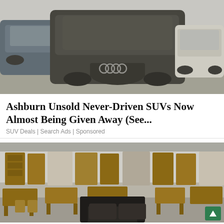[Figure (photo): Cars covered in dust/dirt parked in a lot, including an Audi SUV prominently in center, viewed from front angle]
Ashburn Unsold Never-Driven SUVs Now Almost Being Given Away (See...
SUV Deals | Search Ads | Sponsored
[Figure (photo): Interior of a large warehouse showroom filled with rustic wooden furniture including tables, chairs, bookshelves, and a dark leather sofa in the foreground]